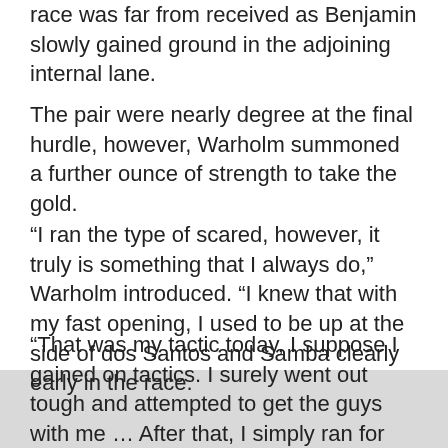race was far from received as Benjamin slowly gained ground in the adjoining internal lane.
The pair were nearly degree at the final hurdle, however, Warholm summoned a further ounce of strength to take the gold.
“I ran the type of scared, however, it truly is something that I always do,” Warholm introduced. “I knew that with my fast opening, I used to be up at the side of dos Santos and Samba clearly early in the race.
“That was my tactic today, I suppose I gained on tactics. I surely went out tough and attempted to get the guys with me … After that, I simply ran for my lifestyle. I’d have died for that gold medal.”